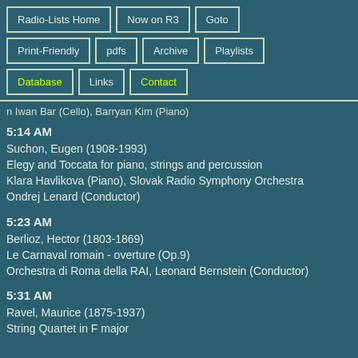Radio-Lists Home | Now on R3 | Goto | Print-Friendly | pdfs | Archive | Playlists | Database | Links | Contact
n Iwan Bar (Cello), Barryan Kim (Piano)
5:14 AM
Suchon, Eugen (1908-1993)
Elegy and Toccata for piano, strings and percussion
Klara Havlikova (Piano), Slovak Radio Symphony Orchestra
Ondrej Lenard (Conductor)
5:23 AM
Berlioz, Hector (1803-1869)
Le Carnaval romain - overture (Op.9)
Orchestra di Roma della RAI, Leonard Bernstein (Conductor)
5:31 AM
Ravel, Maurice (1875-1937)
String Quartet in F major